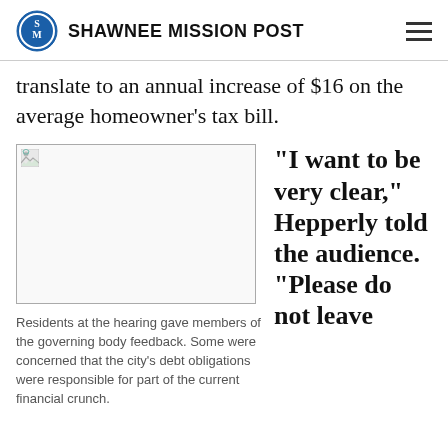SHAWNEE MISSION POST
translate to an annual increase of $16 on the average homeowner’s tax bill.
[Figure (photo): Photo placeholder image (broken image icon) in a rectangular box]
Residents at the hearing gave members of the governing body feedback. Some were concerned that the city’s debt obligations were responsible for part of the current financial crunch.
“I want to be very clear,” Hepperly told the audience. “Please do not leave